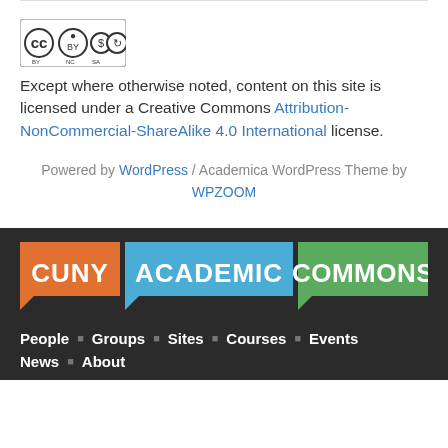[Figure (logo): Creative Commons BY NC SA license badge]
Except where otherwise noted, content on this site is licensed under a Creative Commons Attribution-NonCommercial-ShareAlike 4.0 International license.
Powered by WordPress / Academica WordPress Theme by WPZOOM
[Figure (logo): CUNY Academic Commons logo with three speech bubble colored blocks: orange CUNY, blue ACADEMIC, green COMMONS]
People • Groups • Sites • Courses • Events
News • About